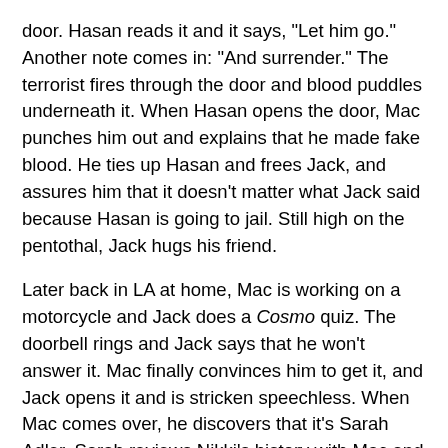door. Hasan reads it and it says, "Let him go." Another note comes in: "And surrender." The terrorist fires through the door and blood puddles underneath it. When Hasan opens the door, Mac punches him out and explains that he made fake blood. He ties up Hasan and frees Jack, and assures him that it doesn't matter what Jack said because Hasan is going to jail. Still high on the pentothal, Jack hugs his friend.
Later back in LA at home, Mac is working on a motorcycle and Jack does a Cosmo quiz. The doorbell rings and Jack says that he won't answer it. Mac finally convinces him to get it, and Jack opens it and is stricken speechless. When Mac comes over, he discovers that it's Sarah Adler. Sarah reviews Nikki's history with Mac and the organization, and Jack says that she found Nikki.
Later at Phoenix, Sarah tells the team that the CIA intercepted a message that has been traced to Nikki. She was assigned to bring in Nikki, then tracked down Jack and Mac to recruit them to her op. When Jack says that they'll handle it, Sara tells them